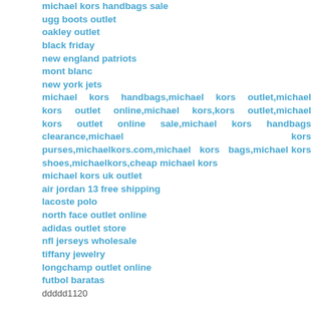michael kors handbags sale
ugg boots outlet
oakley outlet
black friday
new england patriots
mont blanc
new york jets
michael kors handbags,michael kors outlet,michael kors outlet online,michael kors,kors outlet,michael kors outlet online sale,michael kors handbags clearance,michael kors purses,michaelkors.com,michael kors bags,michael kors shoes,michaelkors,cheap michael kors
michael kors uk outlet
air jordan 13 free shipping
lacoste polo
north face outlet online
adidas outlet store
nfl jerseys wholesale
tiffany jewelry
longchamp outlet online
futbol baratas
ddddd1120